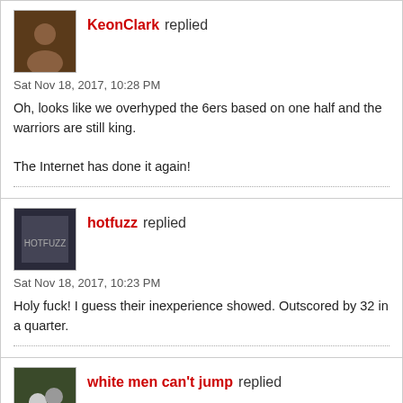KeonClark replied
Sat Nov 18, 2017, 10:28 PM
Oh, looks like we overhyped the 6ers based on one half and the warriors are still king.

The Internet has done it again!
hotfuzz replied
Sat Nov 18, 2017, 10:23 PM
Holy fuck! I guess their inexperience showed. Outscored by 32 in a quarter.
white men can't jump replied
Sat Nov 18, 2017, 10:14 PM
golden wrote: When Simmons was at LSU, I compared him to Lebron and people scoffed and came back with Lamar Odom. He really does look Lebron-esque at times, with the dribbling, court vision and end-to-end transition game at that size (even bigger than Lebron).
Yeah the similarities seem obvious.